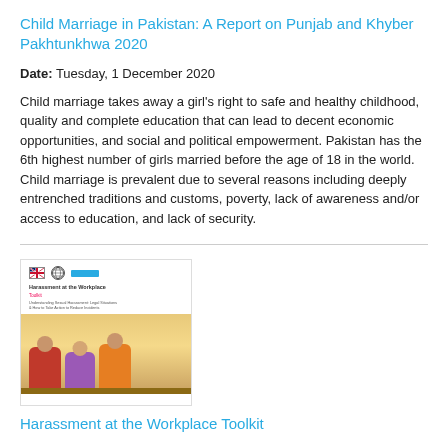Child Marriage in Pakistan: A Report on Punjab and Khyber Pakhtunkhwa 2020
Date: Tuesday, 1 December 2020
Child marriage takes away a girl's right to safe and healthy childhood, quality and complete education that can lead to decent economic opportunities, and social and political empowerment. Pakistan has the 6th highest number of girls married before the age of 18 in the world. Child marriage is prevalent due to several reasons including deeply entrenched traditions and customs, poverty, lack of awareness and/or access to education, and lack of security.
[Figure (photo): Thumbnail cover image of the 'Harassment at the Workplace Toolkit' document showing logos, title, subtitle, and a photo of women sitting together]
Harassment at the Workplace Toolkit
Date: Tuesday, 11 August 2020
This is an easy-to-understand toolkit that has been developed with